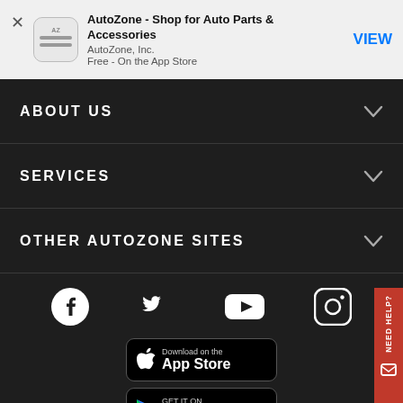[Figure (screenshot): App Store smart banner for AutoZone app showing logo, title 'AutoZone - Shop for Auto Parts & Accessories', developer 'AutoZone, Inc.', price 'Free - On the App Store', and a VIEW button]
ABOUT US
SERVICES
OTHER AUTOZONE SITES
[Figure (infographic): Social media icons row: Facebook, Twitter, YouTube, Instagram on dark background]
[Figure (infographic): Download on the App Store button]
[Figure (infographic): GET IT ON Google Play button]